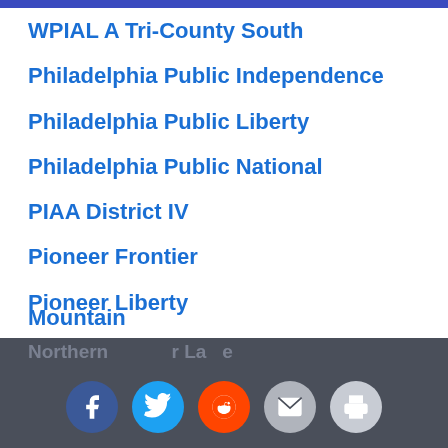WPIAL A Tri-County South
Philadelphia Public Independence
Philadelphia Public Liberty
Philadelphia Public National
PIAA District IV
Pioneer Frontier
Pioneer Liberty
Pittsburgh City
Wyoming Valley 4A
Wyoming Valley 6A/5A
Mid-Penn Liberty
Mountain
Northern…r La…e